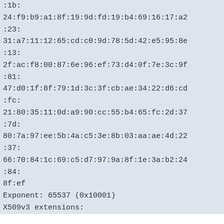:1b:
24:f9:b9:a1:8f:19:9d:fd:19:b4:69:16:17:a2
:23:
31:a7:11:12:65:cd:c0:9d:78:5d:42:e5:95:8e
:13:
2f:ac:f8:00:87:6e:96:ef:73:d4:0f:7e:3c:9f
:81:
47:d0:1f:8f:79:1d:3c:3f:cb:ae:34:22:d6:cd
:fc:
21:80:35:11:0d:a9:90:cc:55:b4:65:fc:2d:37
:7d:
80:7a:97:ee:5b:4a:c5:3e:8b:03:aa:ae:4d:22
:37:
66:70:84:1c:69:c5:d7:97:9a:8f:1e:3a:b2:24
:84:
8f:ef
Exponent: 65537 (0x10001)
X509v3 extensions: